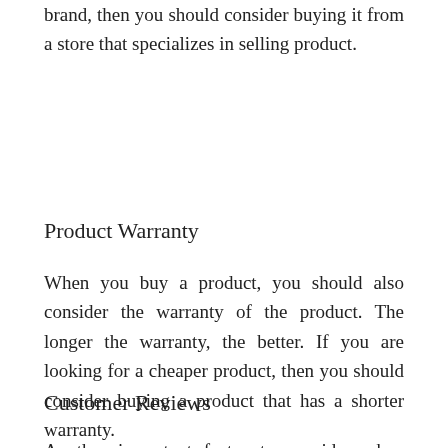brand, then you should consider buying it from a store that specializes in selling product.
Product Warranty
When you buy a product, you should also consider the warranty of the product. The longer the warranty, the better. If you are looking for a cheaper product, then you should consider buying a product that has a shorter warranty.
Customer Reviews
Another important factor to consider when buying a product is the customer